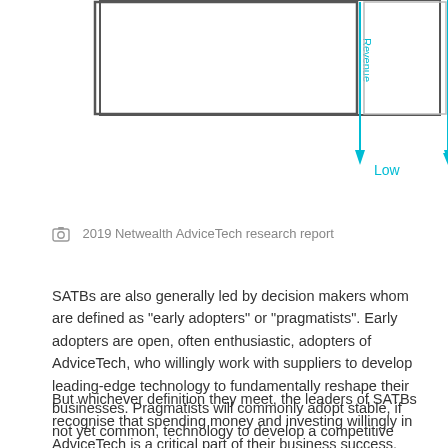[Figure (schematic): Partial view of a 2x2 matrix diagram with Revenue axis (vertical, cyan arrow pointing down to 'Low') and boxes. The top portion of the matrix is visible with boxes and a cyan vertical axis label 'Revenue' and arrow pointing downward to 'Low'.]
2019 Netwealth AdviceTech research report
SATBs are also generally led by decision makers whom are defined as “early adopters” or “pragmatists”. Early adopters are open, often enthusiastic, adopters of AdviceTech, who willingly work with suppliers to develop leading-edge technology to fundamentally reshape their businesses. Pragmatists will commonly adopt stable, if not yet common, technology to develop a competitive advantage.
But whichever definition they meet, the leaders of SATBs recognise that spending money and investing willingly in AdviceTech is a critical part of their business success.